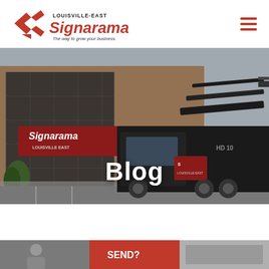[Figure (logo): Signarama Louisville-East logo with red S arrow graphic and tagline 'The way to grow your business.']
[Figure (photo): Photo of a Signarama Louisville-East storefront with a large dark commercial truck with a sign installation crane in the parking lot. The word 'Blog' is overlaid in large white bold text.]
[Figure (photo): Partial bottom strip showing three thumbnail images: a person on the left, a red banner with 'SEND?' text in the middle, and a grey image on the right.]